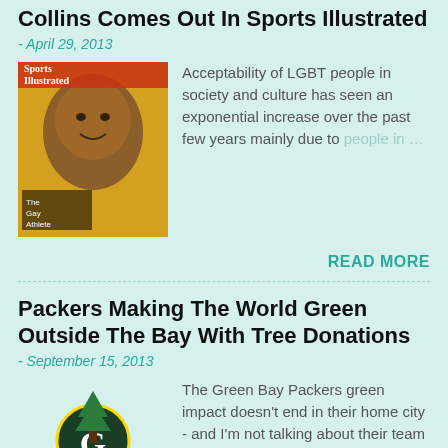Collins Comes Out In Sports Illustrated
- April 29, 2013
[Figure (photo): Sports Illustrated magazine cover featuring Jason Collins labeled 'The Gay Athlete']
Acceptability of LGBT people in society and culture has seen an exponential increase over the past few years mainly due to people in …
READ MORE
Packers Making The World Green Outside The Bay With Tree Donations
- September 15, 2013
[Figure (logo): Green Bay Packers logo on a tee/pin]
The Green Bay Packers green impact doesn't end in their home city - and I'm not talking about their team colors being worn around …
READ MORE